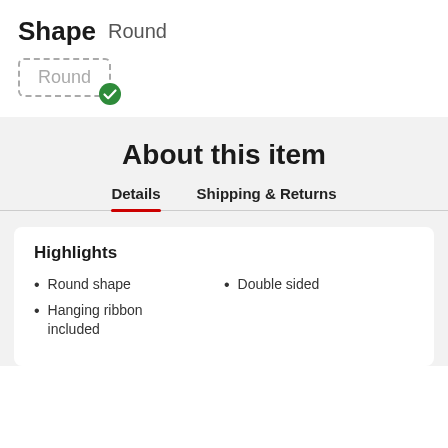Shape   Round
Round
About this item
Details   Shipping & Returns
Highlights
Round shape
Hanging ribbon included
Double sided